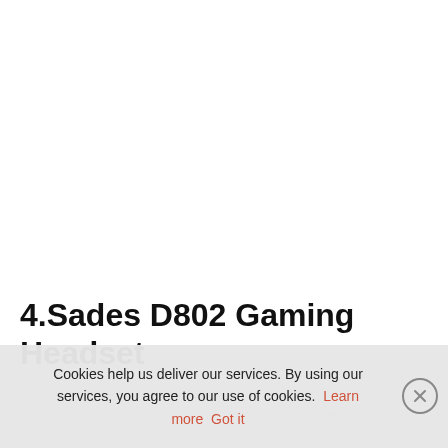4.Sades D802 Gaming Headset
Available on 3 different colors. You can have the best vibration as you can... vibration adjustment op... and usb plug on it. Bu...
Cookies help us deliver our services. By using our services, you agree to our use of cookies. Learn more  Got it